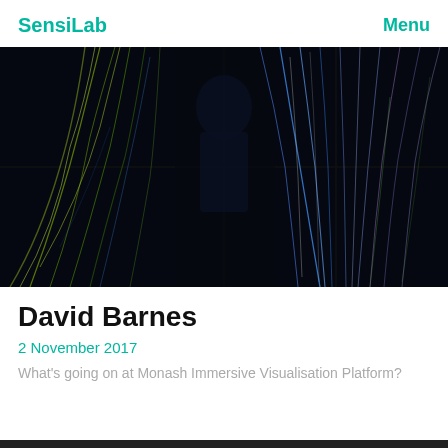SensiLab   Menu
[Figure (photo): Abstract light painting photograph showing colorful streaks of green, blue, and white light against a dark background, displayed on a multi-panel video wall with a person silhouetted in the center]
David Barnes
2 November 2017
What's going on at Monash Immersive Visualisation Platform?